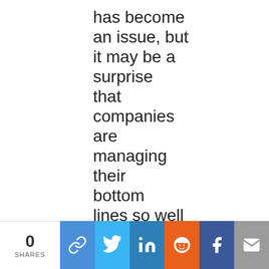has become an issue, but it may be a surprise that companies are managing their bottom lines so well in the face of it. Of course, we have seen
0 SHARES | share buttons: link, twitter, linkedin, reddit, facebook, email